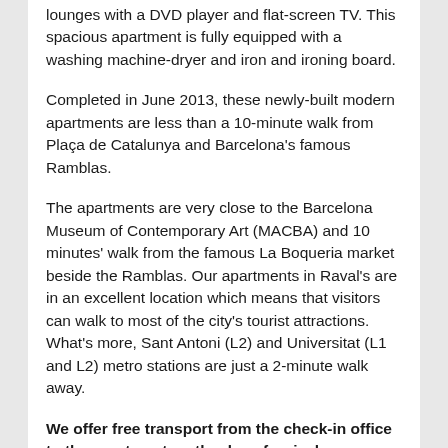lounges with a DVD player and flat-screen TV. This spacious apartment is fully equipped with a washing machine-dryer and iron and ironing board.
Completed in June 2013, these newly-built modern apartments are less than a 10-minute walk from Plaça de Catalunya and Barcelona's famous Ramblas.
The apartments are very close to the Barcelona Museum of Contemporary Art (MACBA) and 10 minutes' walk from the famous La Boqueria market beside the Ramblas. Our apartments in Raval's are in an excellent location which means that visitors can walk to most of the city's tourist attractions. What's more, Sant Antoni (L2) and Universitat (L1 and L2) metro stations are just a 2-minute walk away.
We offer free transport from the check-in office to the apartment on the day of arrival.
All our apartments are fully equipped with A/C, central heating, free Wi-Fi, a personal safe and video surveillance. Kitchens have dishwashers, microwave